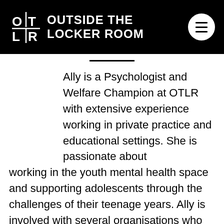OUTSIDE THE LOCKER ROOM
Ally is a Psychologist and Welfare Champion at OTLR with extensive experience working in private practice and educational settings. She is passionate about working in the youth mental health space and supporting adolescents through the challenges of their teenage years. Ally is involved with several organisations who work to raise awareness of mental illness and reduce stigma, and she is also a Mental Health First Aid